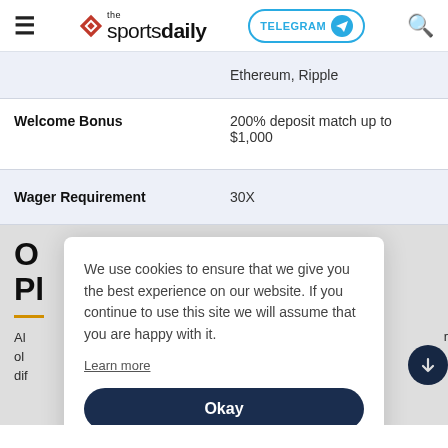the sportsdaily — TELEGRAM — Search
|  |  |
| --- | --- |
|  | Ethereum, Ripple |
| Welcome Bonus | 200% deposit match up to $1,000 |
| Wager Requirement | 30X |
O
Pl
Al... or old... dif...
We use cookies to ensure that we give you the best experience on our website. If you continue to use this site we will assume that you are happy with it.
Learn more
Okay